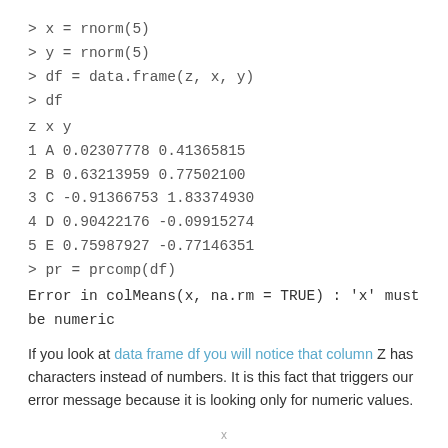> x = rnorm(5)
> y = rnorm(5)
> df = data.frame(z, x, y)
> df
z x y
1 A 0.02307778 0.41365815
2 B 0.63213959 0.77502100
3 C -0.91366753 1.83374930
4 D 0.90422176 -0.09915274
5 E 0.75987927 -0.77146351
> pr = prcomp(df)
Error in colMeans(x, na.rm = TRUE) : 'x' must be numeric
If you look at data frame df you will notice that column Z has characters instead of numbers. It is this fact that triggers our error message because it is looking only for numeric values.
x